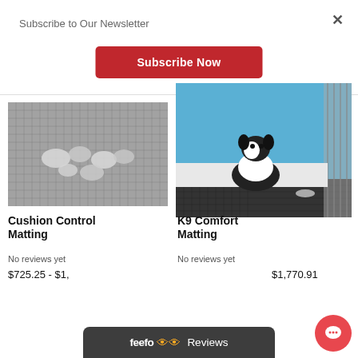Subscribe to Our Newsletter
Subscribe Now
[Figure (photo): Cushion control matting product photo with silver metal items placed on black grid matting]
[Figure (photo): K9 comfort matting product photo showing a black and white border collie dog sitting on black rubber matting inside a kennel with blue wall and metal cage on right]
Cushion Control Matting
K9 Comfort Matting
No reviews yet
No reviews yet
$725.25 - $1,
$1,770.91
feefo Reviews